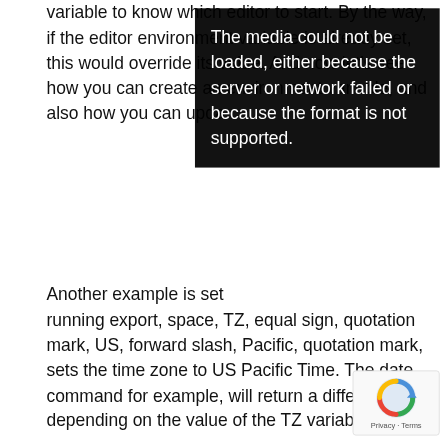variable to know which editor to start. By the way, if the editor environment variable is already set, this would override its value. And now let's see how you can create an environment variable, and also how you can update an environment variable.
[Figure (screenshot): Media error overlay with text: 'The media could not be loaded, either because the server or network failed or because the format is not supported.']
Another example is setting the TZ. running export, space, TZ, equal sign, quotation mark, US, forward slash, Pacific, quotation mark, sets the time zone to US Pacific Time. The date command for example, will return a different result depending on the value of the TZ variable.
Let's say you no longer need or want an environment variable, to remove it from your environment run the unset command followed by the environment variable name. For example, let's say we want to rely on the default time zone of the system, instead of overriding that with a TZ environment variable. So we remove it by running